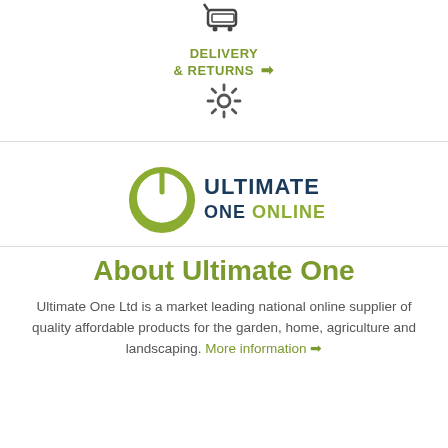[Figure (logo): Shopping cart icon at top center]
DELIVERY & RETURNS →
[Figure (other): Settings/gear icon]
[Figure (logo): Ultimate One Online logo with circular power button icon in olive green and dark navy text]
About Ultimate One
Ultimate One Ltd is a market leading national online supplier of quality affordable products for the garden, home, agriculture and landscaping. More information →